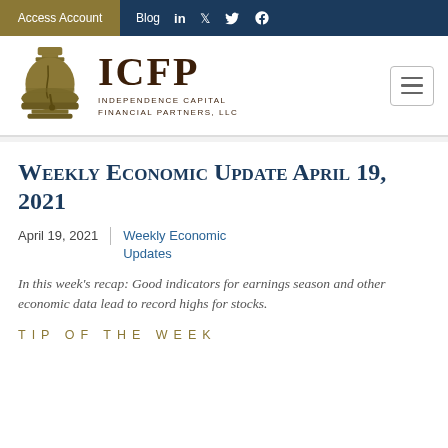Access Account | Blog | in | Twitter | Facebook
[Figure (logo): ICFP Independence Capital Financial Partners, LLC logo with liberty bell icon]
Weekly Economic Update April 19, 2021
April 19, 2021 | Weekly Economic Updates
In this week's recap: Good indicators for earnings season and other economic data lead to record highs for stocks.
TIP OF THE WEEK